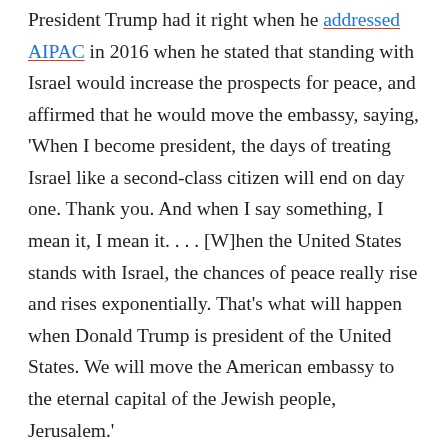President Trump had it right when he addressed AIPAC in 2016 when he stated that standing with Israel would increase the prospects for peace, and affirmed that he would move the embassy, saying, 'When I become president, the days of treating Israel like a second-class citizen will end on day one. Thank you. And when I say something, I mean it, I mean it. . . . [W]hen the United States stands with Israel, the chances of peace really rise and rises exponentially. That's what will happen when Donald Trump is president of the United States. We will move the American embassy to the eternal capital of the Jewish people, Jerusalem.'